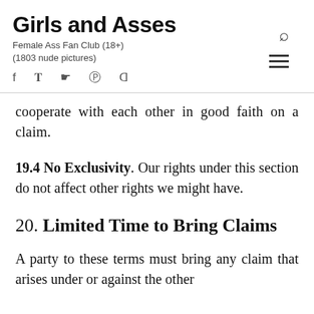Girls and Asses
Female Ass Fan Club (18+)
(1803 nude pictures)
cooperate with each other in good faith on a claim.
19.4 No Exclusivity. Our rights under this section do not affect other rights we might have.
20. Limited Time to Bring Claims
A party to these terms must bring any claim that arises under or against the other